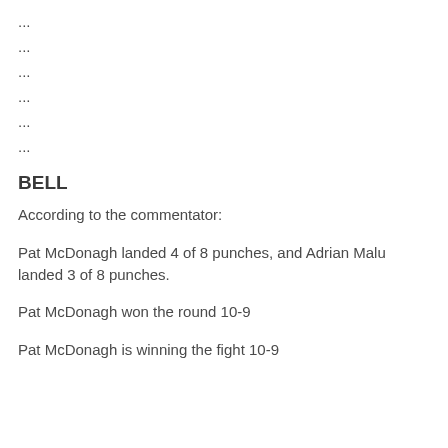...
...
...
...
...
...
BELL
According to the commentator:
Pat McDonagh landed 4 of 8 punches, and Adrian Malu landed 3 of 8 punches.
Pat McDonagh won the round 10-9
Pat McDonagh is winning the fight 10-9